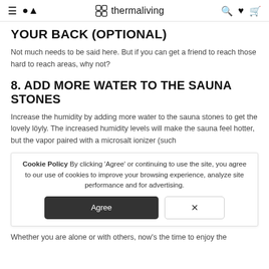thermaliving
YOUR BACK (OPTIONAL)
Not much needs to be said here. But if you can get a friend to reach those hard to reach areas, why not?
8. ADD MORE WATER TO THE SAUNA STONES
Increase the humidity by adding more water to the sauna stones to get the lovely löyly. The increased humidity levels will make the sauna feel hotter, but the vapor paired with a microsalt ionizer (such
Cookie Policy By clicking 'Agree' or continuing to use the site, you agree to our use of cookies to improve your browsing experience, analyze site performance and for advertising.
Whether you are alone or with others, now's the time to enjoy the